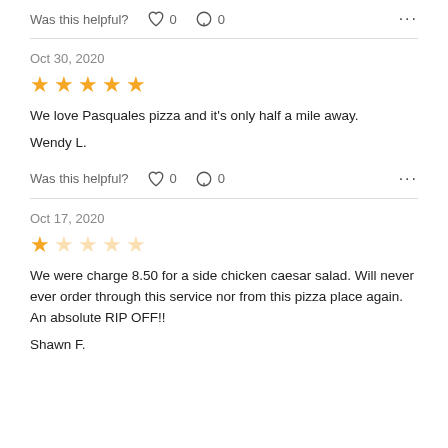Was this helpful? ♡ 0  ⬡ 0  •••
Oct 30, 2020
[Figure (other): 5 filled gold stars rating]
We love Pasquales pizza and it's only half a mile away.
Wendy L.
Was this helpful? ♡ 0  ⬡ 0  •••
Oct 17, 2020
[Figure (other): 1 filled gold star and 4 empty stars rating]
We were charge 8.50 for a side chicken caesar salad. Will never ever order through this service nor from this pizza place again. An absolute RIP OFF!!
Shawn F.